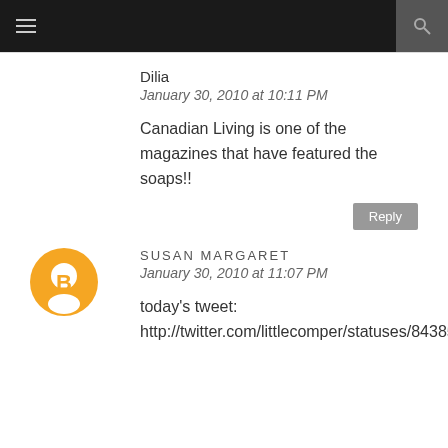☰  🔍
Dilia
January 30, 2010 at 10:11 PM
Canadian Living is one of the magazines that have featured the soaps!!
SUSAN MARGARET
January 30, 2010 at 11:07 PM
today's tweet: http://twitter.com/littlecomper/statuses/8438590772